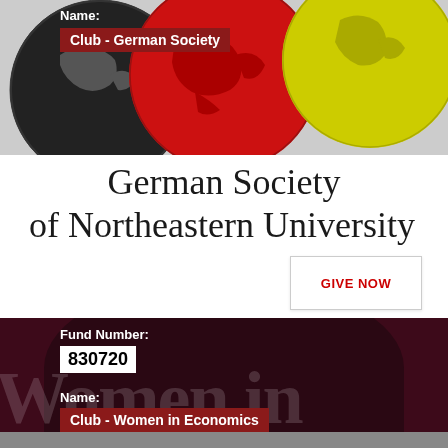[Figure (illustration): Three overlapping globe illustrations in black, red, and yellow-green colors representing the German Society of Northeastern University logo]
Name:
Club - German Society
German Society of Northeastern University
GIVE NOW
Fund Number:
830720
Name:
Club - Women in Economics
[Figure (illustration): Women in Economics club logo with dark maroon/burgundy background and arch shape, with large decorative text 'Women in' in the background]